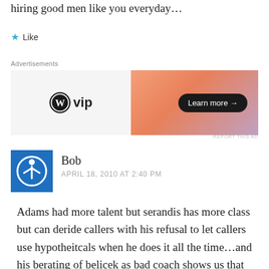hiring good men like you everyday…
★ Like
Advertisements
[Figure (other): WordPress VIP advertisement banner with 'Learn more →' button on an orange/purple gradient background]
Bob
APRIL 18, 2010 AT 2:40 PM
Adams had more talent but serandis has more class but can deride callers with his refusal to let callers use hypotheitcals when he does it all the time…and his berating of belicek as bad coach shows us that he let's personal feelings get in